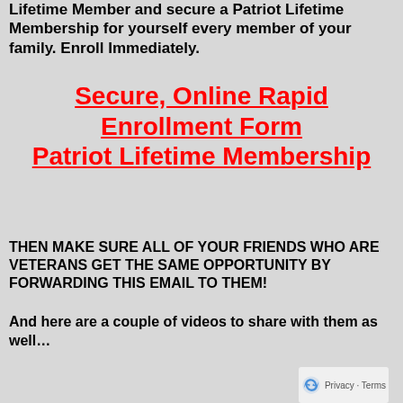Lifetime Member and secure a Patriot Lifetime Membership for yourself every member of your family. Enroll Immediately.
Secure, Online Rapid Enrollment Form Patriot Lifetime Membership
THEN MAKE SURE ALL OF YOUR FRIENDS WHO ARE VETERANS GET THE SAME OPPORTUNITY BY FORWARDING THIS EMAIL TO THEM!
And here are a couple of videos to share with them as well…
[Figure (screenshot): YouTube video thumbnail showing 'New Taste of Front Sight | Firearms T...' with Front Sight logo and desert landscape background, with reCAPTCHA overlay in bottom-right corner.]